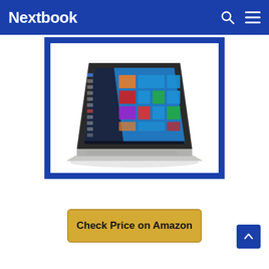Nextbook
[Figure (photo): HP laptop with Windows 10 Start Menu displayed on screen, silver body, angled product shot on white background inside a blue-bordered frame]
Check Price on Amazon